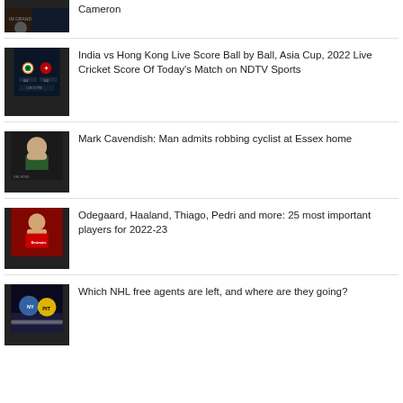[Figure (photo): Partial view of a boxing/sports arena image, top of page]
Cameron
[Figure (photo): Cricket scoreboard showing India vs Hong Kong flags on dark blue background]
India vs Hong Kong Live Score Ball by Ball, Asia Cup, 2022 Live Cricket Score Of Today's Match on NDTV Sports
[Figure (photo): Mark Cavendish smiling, BBC Hong Kong logo visible]
Mark Cavendish: Man admits robbing cyclist at Essex home
[Figure (photo): Football player (Arsenal kit) celebrating with fists raised]
Odegaard, Haaland, Thiago, Pedri and more: 25 most important players for 2022-23
[Figure (photo): NHL ice hockey players in action]
Which NHL free agents are left, and where are they going?